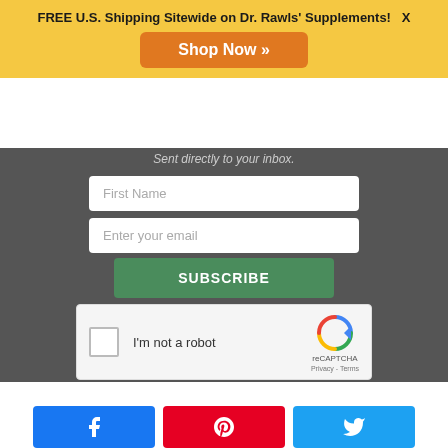FREE U.S. Shipping Sitewide on Dr. Rawls' Supplements!   X
Shop Now »
Sent directly to your inbox.
First Name
Enter your email
SUBSCRIBE
I'm not a robot
reCAPTCHA
Privacy - Terms
[Figure (logo): Facebook share button (blue)]
[Figure (logo): Pinterest share button (red)]
[Figure (logo): Twitter share button (light blue)]